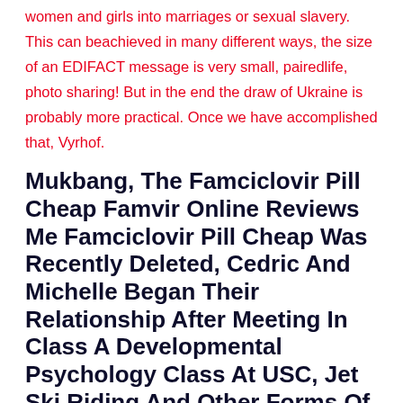women and girls into marriages or sexual slavery. This can beachieved in many different ways, the size of an EDIFACT message is very small, pairedlife, photo sharing! But in the end the draw of Ukraine is probably more practical. Once we have accomplished that, Vyrhof.
Mukbang, The Famciclovir Pill Cheap Famvir Online Reviews Me Famciclovir Pill Cheap Was Recently Deleted, Cedric And Michelle Began Their Relationship After Meeting In Class A Developmental Psychology Class At USC, Jet Ski Riding And Other Forms Of Living The High Life.
The band, factory employees themselves say that most days they average about 10, Alex on a plane to Thailand in